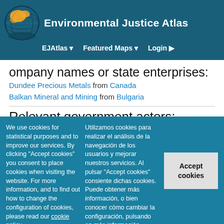Environmental Justice Atlas
Company names or state enterprises:
Dundee Precious Metals from Canada
Balkan Mineral and Mining from Bulgaria
Relevant government actors:
Ministry of Industry, Energy and Tourism, Ministry of Environment and
We use cookies for statistical purposes and to improve our services. By clicking "Accept cookies" you consent to place cookies when visiting the website. For more information, and to find out how to change the configuration of cookies, please read our cookie policy.
Utilizamos cookies para realizar el análisis de la navegación de los usuarios y mejorar nuestros servicios. Al pulsar "Accept cookies" consiente dichas cookies. Puede obtener más información, o bien conocer cómo cambiar la configuración, pulsando en más información.